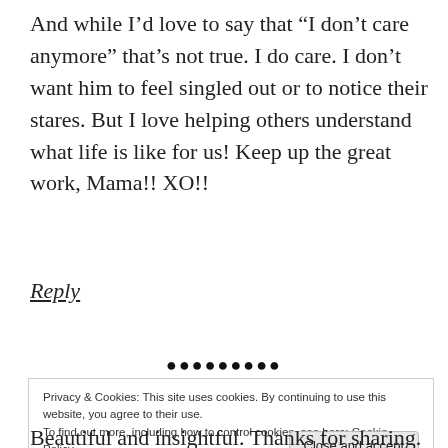And while I’d love to say that “I don’t care anymore” that’s not true. I do care. I don’t want him to feel singled out or to notice their stares. But I love helping others understand what life is like for us! Keep up the great work, Mama!! XO!!
Reply
•••••••••
Privacy & Cookies: This site uses cookies. By continuing to use this website, you agree to their use.
To find out more, including how to control cookies, see here: Cookie Policy
Beautiful and insightful. Thanks for sharing. 🙂